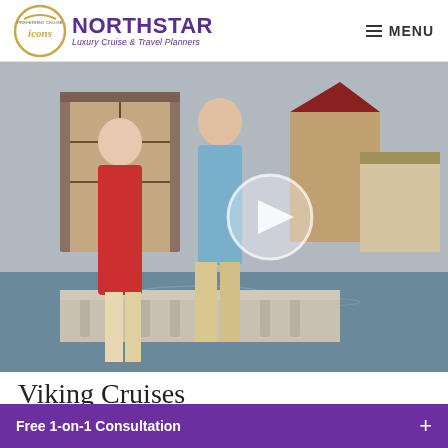[Figure (logo): Northstar Luxury Cruise & Travel Planners logo with icons badge on left and purple NORTHSTAR text with italic subtitle on right]
[Figure (photo): A couple standing on a stone bridge railing overlooking a European river canal with half-timbered buildings and a watermill in the background. The woman wears a red cardigan, the man a light blue shirt. A circular play button overlay is centered on the image.]
Viking Cruises
Free 1-on-1 Consultation